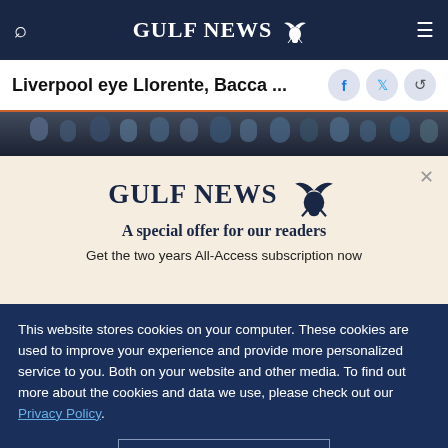GULF NEWS
Liverpool eye Llorente, Bacca ...
[Figure (photo): Crowd photo strip at top of article]
[Figure (logo): Gulf News logo with eagle mascot]
A special offer for our readers
Get the two years All-Access subscription now
This website stores cookies on your computer. These cookies are used to improve your experience and provide more personalized service to you. Both on your website and other media. To find out more about the cookies and data we use, please check out our Privacy Policy.
OK